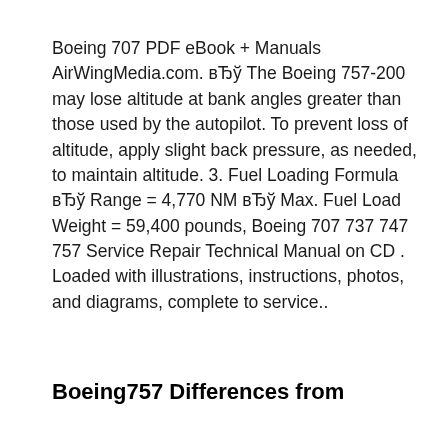Boeing 707 PDF eBook + Manuals AirWingMedia.com. вЂў The Boeing 757-200 may lose altitude at bank angles greater than those used by the autopilot. To prevent loss of altitude, apply slight back pressure, as needed, to maintain altitude. 3. Fuel Loading Formula вЂў Range = 4,770 NM вЂў Max. Fuel Load Weight = 59,400 pounds, Boeing 707 737 747 757 Service Repair Technical Manual on CD . Loaded with illustrations, instructions, photos, and diagrams, complete to service..
Boeing757 Differences from